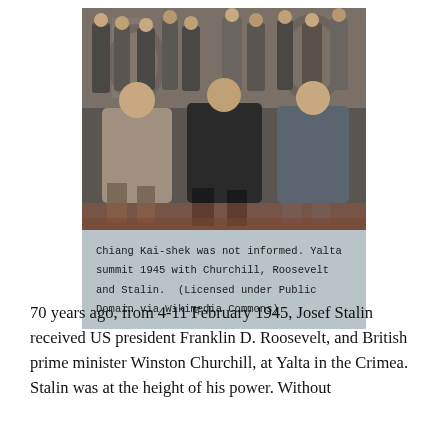[Figure (photo): Historical photograph of the Yalta Conference 1945, showing Churchill, Roosevelt, and Stalin seated in the front row, with military officials standing behind them.]
Chiang Kai-shek was not informed. Yalta summit 1945 with Churchill, Roosevelt and Stalin.  (Licensed under Public Domain via Wikimedia Commons)
70 years ago, from 4-11 February 1945, Josef Stalin received US president Franklin D. Roosevelt, and British prime minister Winston Churchill, at Yalta in the Crimea. Stalin was at the height of his power. Without